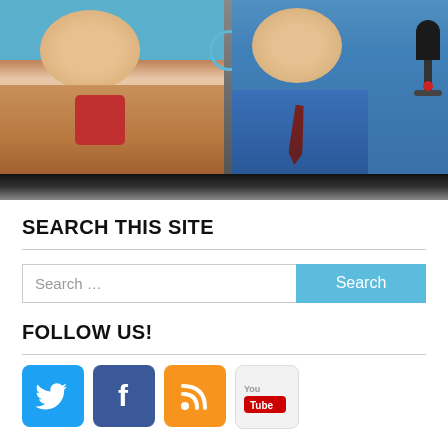[Figure (photo): Photo of two men in a TV/podcast studio setting. Left person wearing tan/beige jacket with red scarf. Right person wearing blue shirt near a microphone. Blue studio background.]
SEARCH THIS SITE
FOLLOW US!
[Figure (infographic): Social media icons: Twitter (blue bird), Facebook (blue f), RSS (orange), YouTube (grey/red)]
SUBSCRIBE TO LADR VIA EMAIL
Enter your email address to subscribe to this blog and receive notifications of new posts by email.